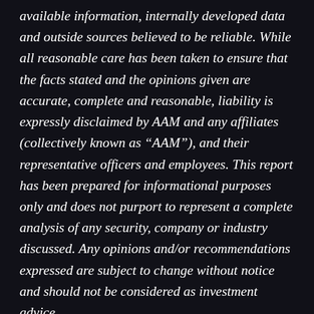available information, internally developed data and outside sources believed to be reliable. While all reasonable care has been taken to ensure that the facts stated and the opinions given are accurate, complete and reasonable, liability is expressly disclaimed by AAM and any affiliates (collectively known as “AAM”), and their representative officers and employees. This report has been prepared for informational purposes only and does not purport to represent a complete analysis of any security, company or industry discussed. Any opinions and/or recommendations expressed are subject to change without notice and should not be considered as investment advice.